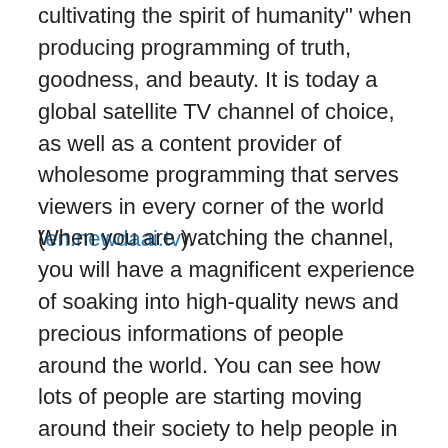cultivating the spirit of humanity" when producing programming of truth, goodness, and beauty. It is today a global satellite TV channel of choice, as well as a content provider of wholesome programming that serves viewers in every corner of the world (en.newdaai.tv).
When you are watching the channel, you will have a magnificent experience of soaking into high-quality news and precious informations of people around the world. You can see how lots of people are starting moving around their society to help people in need and also the mother nature itself. I just got very touched and awakened to know that there are so many sincere (and I mean, INCREDIBLY SINCERE) people. It's REAL. It's not a so called "REALITY" Show, even though it is just a script designed to feel like a real condition–knowing that present people are craving to see how others are living like (no